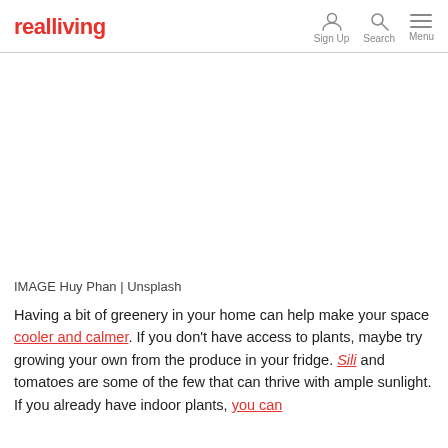realliving  Sign Up  Search  Menu
[Figure (photo): White/blank image area placeholder for a photo (Huy Phan | Unsplash)]
IMAGE Huy Phan | Unsplash
Having a bit of greenery in your home can help make your space cooler and calmer. If you don't have access to plants, maybe try growing your own from the produce in your fridge. Sili and tomatoes are some of the few that can thrive with ample sunlight. If you already have indoor plants, you can